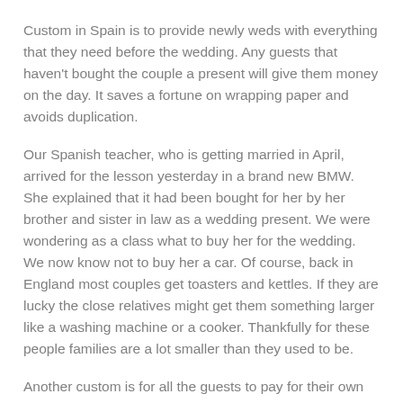Custom in Spain is to provide newly weds with everything that they need before the wedding. Any guests that haven't bought the couple a present will give them money on the day. It saves a fortune on wrapping paper and avoids duplication.
Our Spanish teacher, who is getting married in April, arrived for the lesson yesterday in a brand new BMW. She explained that it had been bought for her by her brother and sister in law as a wedding present. We were wondering as a class what to buy her for the wedding. We now know not to buy her a car. Of course, back in England most couples get toasters and kettles. If they are lucky the close relatives might get them something larger like a washing machine or a cooker. Thankfully for these people families are a lot smaller than they used to be.
Another custom is for all the guests to pay for their own meal at the reception. Just as well because there can be over 200 people at a wedding in a small town like Bigastro.